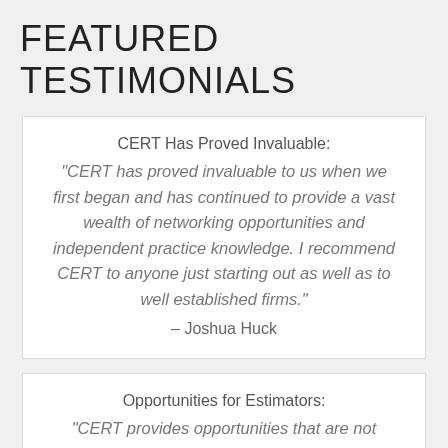FEATURED TESTIMONIALS
CERT Has Proved Invaluable:
"CERT has proved invaluable to us when we first began and has continued to provide a vast wealth of networking opportunities and independent practice knowledge. I recommend CERT to anyone just starting out as well as to well established firms."
– Joshua Huck
Opportunities for Estimators:
"CERT provides opportunities that are not available anywhere else to the independent...